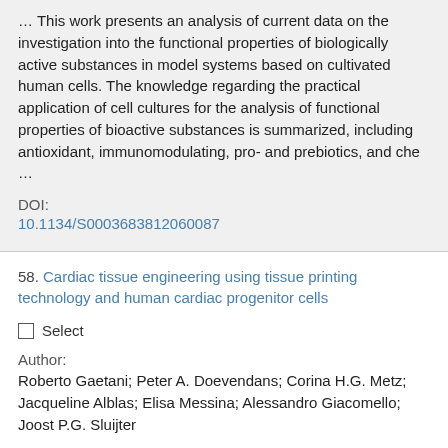… This work presents an analysis of current data on the investigation into the functional properties of biologically active substances in model systems based on cultivated human cells. The knowledge regarding the practical application of cell cultures for the analysis of functional properties of bioactive substances is summarized, including antioxidant, immunomodulating, pro- and prebiotics, and che …
DOI:
10.1134/S0003683812060087
58. Cardiac tissue engineering using tissue printing technology and human cardiac progenitor cells
Select
Author:
Roberto Gaetani; Peter A. Doevendans; Corina H.G. Metz; Jacqueline Alblas; Elisa Messina; Alessandro Giacomello; Joost P.G. Sluijter